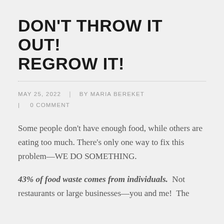DON'T THROW IT OUT! REGROW IT!
MAY 25, 2022  |  BY MARIA BEREKET  |  0 COMMENT
Some people don't have enough food, while others are eating too much. There's only one way to fix this problem—WE DO SOMETHING.
43% of food waste comes from individuals.  Not restaurants or large businesses—you and me!  The